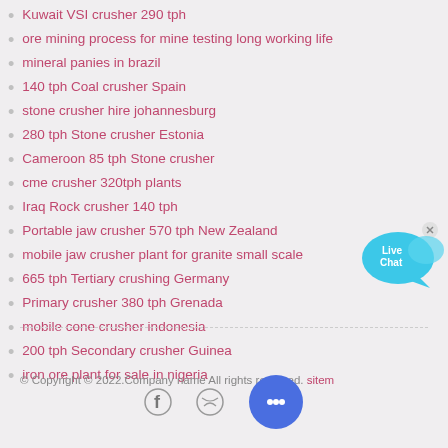Kuwait VSI crusher 290 tph
ore mining process for mine testing long working life
mineral panies in brazil
140 tph Coal crusher Spain
stone crusher hire johannesburg
280 tph Stone crusher Estonia
Cameroon 85 tph Stone crusher
cme crusher 320tph plants
Iraq Rock crusher 140 tph
Portable jaw crusher 570 tph New Zealand
mobile jaw crusher plant for granite small scale
665 tph Tertiary crushing Germany
Primary crusher 380 tph Grenada
mobile cone crusher indonesia
200 tph Secondary crusher Guinea
iron ore plant for sale in nigeria
[Figure (illustration): Live Chat speech bubble icon in cyan/blue]
© Copyright © 2022.Company name All rights reserved. sitemap
[Figure (illustration): Social media icons: Facebook, Dribbble, and chat circle button in blue]